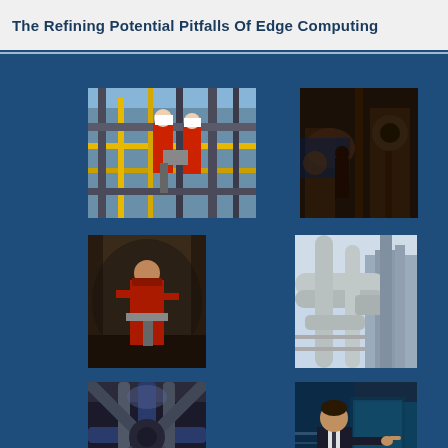The Refining Potential Pitfalls Of Edge Computing
[Figure (photo): Two workers in red coveralls and white hard hats working on industrial refinery equipment with yellow railings and pipes]
[Figure (photo): Industrial workers in a dark factory or plant environment with machinery and equipment]
[Figure (photo): Worker in red shirt inside a large industrial tank or vessel]
[Figure (photo): Industrial pipes and equipment at a refinery or chemical plant with grey/white pipes]
[Figure (photo): Complex industrial pipe network viewed from below with blue and silver pipes converging]
[Figure (photo): Business man in suit writing or pointing at a transparent screen or display in a modern office setting]